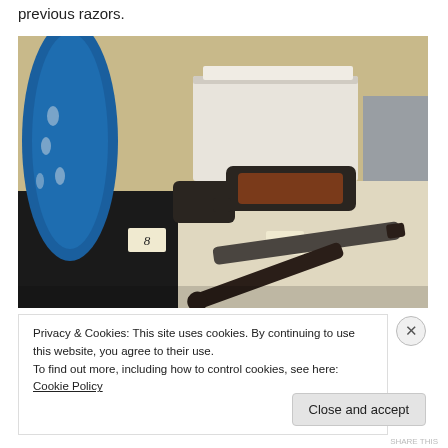previous razors.
[Figure (photo): Museum display case showing antique razors: a dark cylindrical case with cap (labeled 8), an open razor case with brown leather interior (labeled 9), and a straight razor open on a display surface. A blue ceramic bowl is visible in the background left.]
Privacy & Cookies: This site uses cookies. By continuing to use this website, you agree to their use.
To find out more, including how to control cookies, see here: Cookie Policy
Close and accept